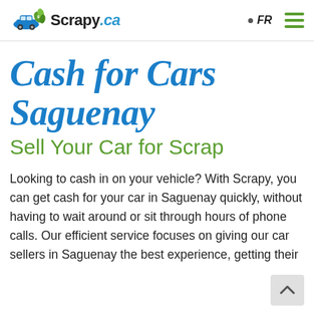Scrapy.ca — FR (navigation header)
Cash for Cars Saguenay
Sell Your Car for Scrap
Looking to cash in on your vehicle? With Scrapy, you can get cash for your car in Saguenay quickly, without having to wait around or sit through hours of phone calls. Our efficient service focuses on giving our car sellers in Saguenay the best experience, getting their